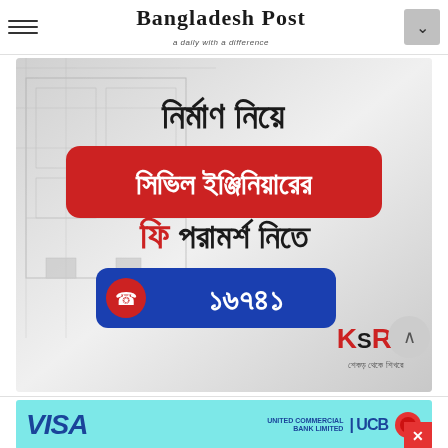Bangladesh Post
[Figure (illustration): Advertisement banner for KSRM construction company. Bengali text reading: 'নির্মাণ নিয়ে সিভিল ইঞ্জিনিয়ারের ফি পরামর্শ নিতে ১৬৭৪১'. Background shows architectural blueprint drawings. Red rounded rectangle contains the Bengali text for civil engineer. Blue rounded rectangle shows phone number ১৬৭৪১ with a phone icon. KSRM logo in bottom right.]
[Figure (illustration): Advertisement banner for United Commercial Bank Limited VISA card. Teal/cyan background. VISA logo in blue italic bold on left. UCB logo and bank name on right with a red circle graphic.]